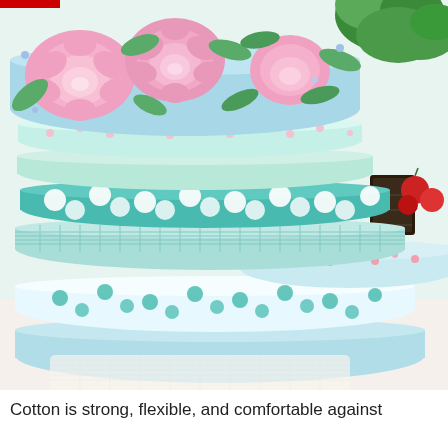[Figure (photo): A stack of folded cotton fabric pieces in various patterns: floral prints with pink roses on light blue/mint background, solid mint green, small floral print on mint, teal/turquoise with large white polka dots, mint gingham/plaid check, white with teal polka dots, and light blue with small pink floral. Green plant and red decorative berries visible in the background on a white surface.]
Cotton is strong, flexible, and comfortable against